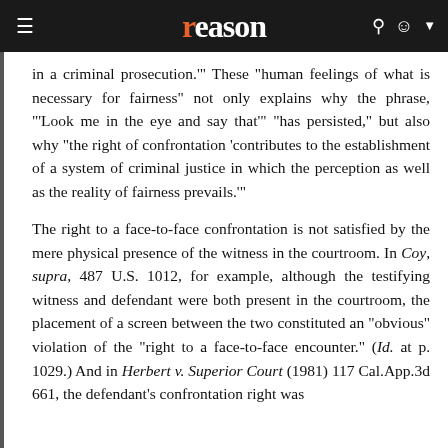reason
in a criminal prosecution.'" These "human feelings of what is necessary for fairness" not only explains why the phrase, "'Look me in the eye and say that'" "has persisted," but also why "the right of confrontation 'contributes to the establishment of a system of criminal justice in which the perception as well as the reality of fairness prevails.'"
The right to a face-to-face confrontation is not satisfied by the mere physical presence of the witness in the courtroom. In Coy, supra, 487 U.S. 1012, for example, although the testifying witness and defendant were both present in the courtroom, the placement of a screen between the two constituted an "obvious" violation of the "right to a face-to-face encounter." (Id. at p. 1029.) And in Herbert v. Superior Court (1981) 117 Cal.App.3d 661, the defendant's confrontation right was